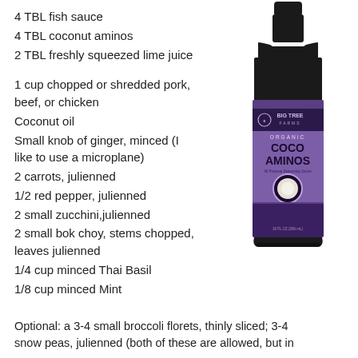4 TBL fish sauce
4 TBL coconut aminos
2 TBL freshly squeezed lime juice
1 cup chopped or shredded pork, beef, or chicken
Coconut oil
Small knob of ginger, minced (I like to use a microplane)
2 carrots, julienned
1/2 red pepper, julienned
2 small zucchini,julienned
2 small bok choy, stems chopped, leaves julienned
1/4 cup minced Thai Basil
1/8 cup minced Mint
[Figure (photo): A bottle of Big Tree Farms Organic Coco Aminos (All Purpose Seasoning Sauce), 10 fl oz, with a dark bottle and purple label featuring a coconut image.]
Optional: a 3-4 small broccoli florets, thinly sliced; 3-4 snow peas, julienned (both of these are allowed, but in